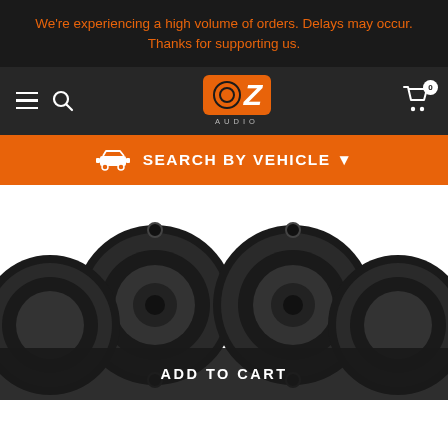We're experiencing a high volume of orders. Delays may occur. Thanks for supporting us.
[Figure (logo): OZ Audio logo — orange square with bold italic Z and circle-O, with AUDIO text below]
SEARCH BY VEHICLE ▼
[Figure (photo): Car speakers / subwoofers product photo showing multiple round black speakers]
ADD TO CART